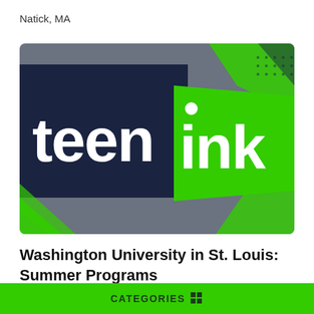Natick, MA
[Figure (logo): Teen Ink logo — dark navy background with bold white 'teen' text on the left and bright green rectangle with bold white 'ink' text on the right, with green and dark decorative splashes in the corners]
Washington University in St. Louis: Summer Programs
St. Louis, MO
CATEGORIES